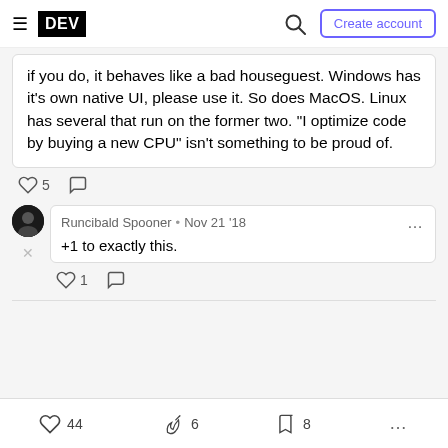DEV | Create account
if you do, it behaves like a bad houseguest. Windows has it's own native UI, please use it. So does MacOS. Linux has several that run on the former two. "I optimize code by buying a new CPU" isn't something to be proud of.
♡ 5  ○
Runcibald Spooner • Nov 21 '18 ... +1 to exactly this. ♡ 1  ○
♡ 44   🔥 6   □ 8   ...